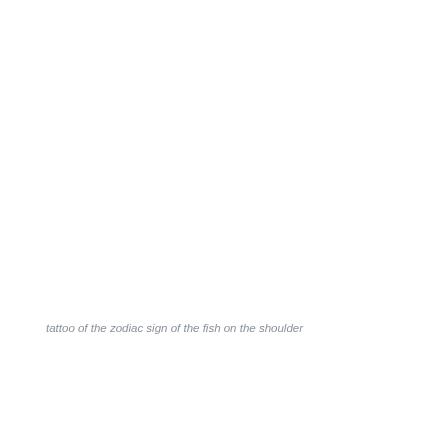tattoo of the zodiac sign of the fish on the shoulder